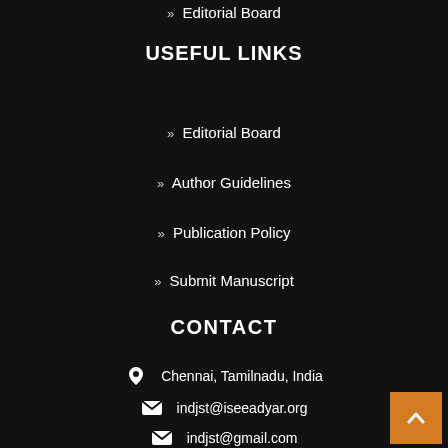» Editorial Board
USEFUL LINKS
» Editorial Board
» Author Guidelines
» Publication Policy
» Submit Manuscript
CONTACT
Chennai, Tamilnadu, India
indjst@iseeadyar.org
indjst@gmail.com
+ 91 044 24492011